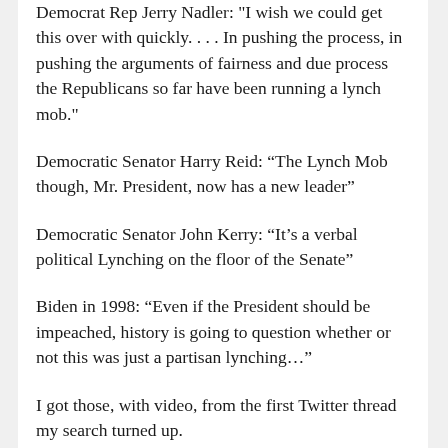Democrat Rep Jerry Nadler: "I wish we could get this over with quickly. . . . In pushing the process, in pushing the arguments of fairness and due process the Republicans so far have been running a lynch mob."
Democratic Senator Harry Reid: “The Lynch Mob though, Mr. President, now has a new leader”
Democratic Senator John Kerry: “It’s a verbal political Lynching on the floor of the Senate”
Biden in 1998: “Even if the President should be impeached, history is going to question whether or not this was just a partisan lynching…”
I got those, with video, from the first Twitter thread my search turned up.